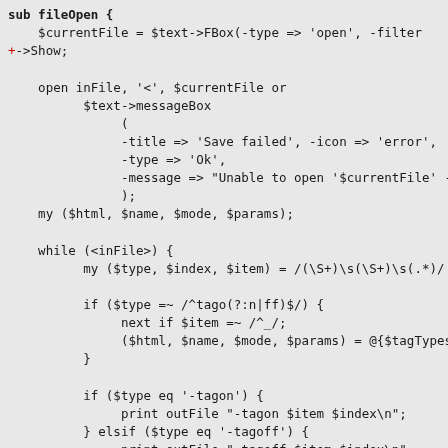[Figure (screenshot): Code snippet showing a Perl subroutine 'fileOpen' with file dialog, error handling, and while loop parsing tagged file content with conditional print statements.]